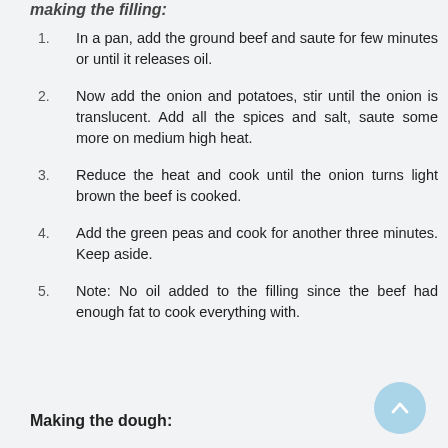making the filling:
In a pan, add the ground beef and saute for few minutes or until it releases oil.
Now add the onion and potatoes, stir until the onion is translucent. Add all the spices and salt, saute some more on medium high heat.
Reduce the heat and cook until the onion turns light brown the beef is cooked.
Add the green peas and cook for another three minutes. Keep aside.
Note: No oil added to the filling since the beef had enough fat to cook everything with.
Making the dough: